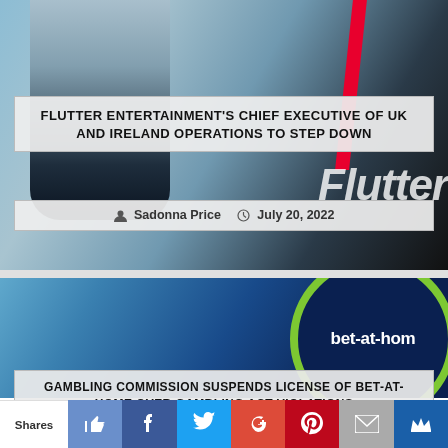[Figure (photo): Top photo showing a person in a white shirt with earphones, with a Flutter Entertainment branded background and red stripe]
FLUTTER ENTERTAINMENT'S CHIEF EXECUTIVE OF UK AND IRELAND OPERATIONS TO STEP DOWN
Sadonna Price  July 20, 2022
[Figure (photo): Photo of a bet-at-home branded display with navy background, green circle border logo, and white bold text reading bet-at-home]
GAMBLING COMMISSION SUSPENDS LICENSE OF BET-AT-HOME OVER GAMBLING ACT VIOLATIONS
Shares